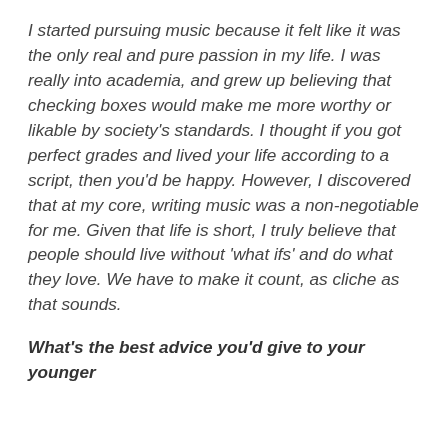I started pursuing music because it felt like it was the only real and pure passion in my life. I was really into academia, and grew up believing that checking boxes would make me more worthy or likable by society's standards. I thought if you got perfect grades and lived your life according to a script, then you'd be happy. However, I discovered that at my core, writing music was a non-negotiable for me. Given that life is short, I truly believe that people should live without 'what ifs' and do what they love. We have to make it count, as cliche as that sounds.
What's the best advice you'd give to your younger